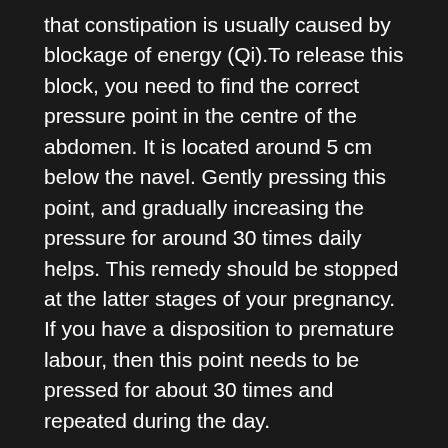that constipation is usually caused by blockage of energy (Qi).To release this block, you need to find the correct pressure point in the centre of the abdomen. It is located around 5 cm below the navel. Gently pressing this point, and gradually increasing the pressure for around 30 times daily helps. This remedy should be stopped at the latter stages of your pregnancy. If you have a disposition to premature labour, then this point needs to be pressed for about 30 times and repeated during the day.
10. Laxatives
There are of two types of laxatives. One that adds home remedies for severe constipation during pregnancy to the stool and the other induces contraction of bowels. The laxatives which add bulk to the stool do home remedies for severe constipation during pregnancy by increasing the